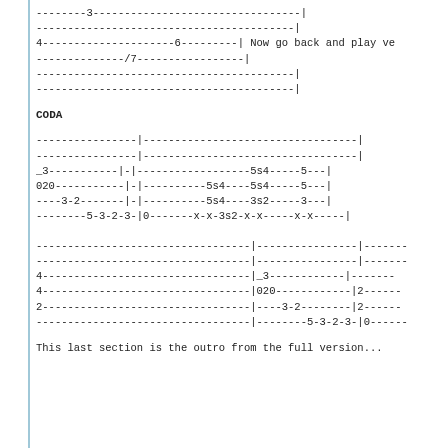[Figure (other): Guitar tablature notation block showing fret numbers on 6 strings with dashes. Top section ends with bar lines. Includes an inline note 'Now go back and play ve'.]
CODA
[Figure (other): Guitar tablature CODA section showing two measures. Strings show: line1: '----------------|---------------------------------|', line2: '----------------|---------------------------------|', line3: '_3------------|------------------5s4-----5---|', line4: '020------------|----------5s4----5s4-----5---|', line5: '----3-2--------|----------5s4----3s2-----3---|', line6: '--------5-3-2-3-|0-------x-x-3s2-x-x-----x-x-----|']
[Figure (other): Guitar tablature continuation section showing three partial measures: '----------------------------------|----------------|-------', '----------------------------------|----------------|-------', '4---------------------------------|_3------------|-------', '4---------------------------------|020------------|2------', '2---------------------------------|----3-2--------|2------', '----------------------------------|--------5-3-2-3-|0------']
This last section is the outro from the full version...